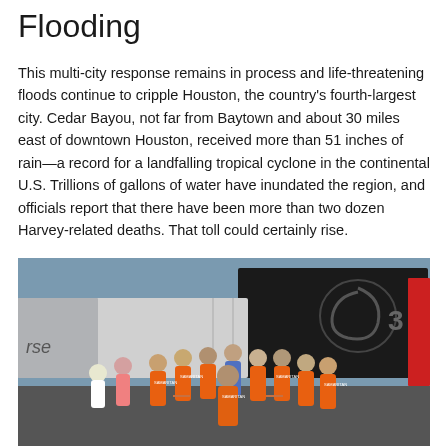Flooding
This multi-city response remains in process and life-threatening floods continue to cripple Houston, the country's fourth-largest city. Cedar Bayou, not far from Baytown and about 30 miles east of downtown Houston, received more than 51 inches of rain—a record for a landfalling tropical cyclone in the continental U.S. Trillions of gallons of water have inundated the region, and officials report that there have been more than two dozen Harvey-related deaths. That toll could certainly rise.
[Figure (photo): Group of people wearing orange Samaritan's Purse t-shirts standing in a circle, appearing to pray, in front of large dark relief vehicles/trucks in a parking lot. Disaster relief scene related to Hurricane Harvey flooding.]